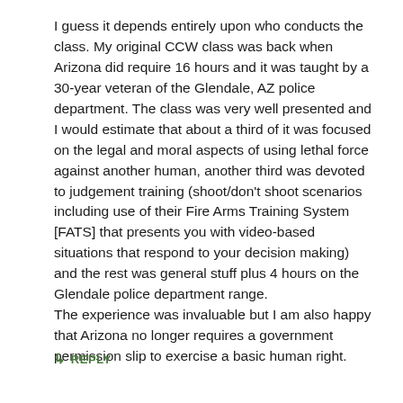I guess it depends entirely upon who conducts the class. My original CCW class was back when Arizona did require 16 hours and it was taught by a 30-year veteran of the Glendale, AZ police department. The class was very well presented and I would estimate that about a third of it was focused on the legal and moral aspects of using lethal force against another human, another third was devoted to judgement training (shoot/don't shoot scenarios including use of their Fire Arms Training System [FATS] that presents you with video-based situations that respond to your decision making) and the rest was general stuff plus 4 hours on the Glendale police department range.
The experience was invaluable but I am also happy that Arizona no longer requires a government permission slip to exercise a basic human right.
↳ REPLY